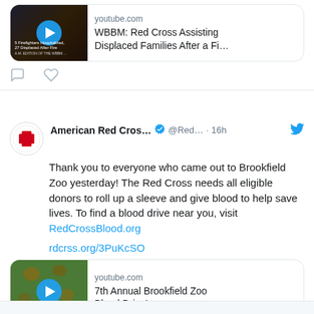[Figure (screenshot): Top tweet card showing a YouTube link preview for 'WBBM: Red Cross Assisting Displaced Families After a Fi...' with a dark fire scene thumbnail and play button. Comment and like icons shown below.]
[Figure (screenshot): American Red Cross tweet (16h ago): Thank you to everyone who came out to Brookfield Zoo yesterday! The Red Cross needs all eligible donors to roll up a sleeve and give blood to help save lives. To find a blood drive near you, visit RedCrossBlood.org. rdcrss.org/3PuKcSO. YouTube preview: 7th Annual Brookfield Zoo Blood Drive!]